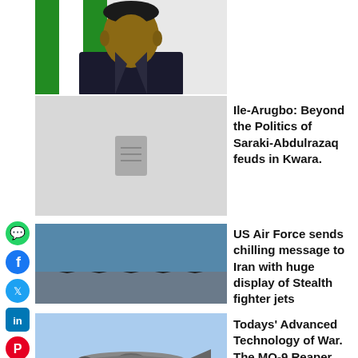[Figure (photo): Portrait photo of a man in a suit, Nigerian flag visible in background]
[Figure (photo): Document/article placeholder icon]
Ile-Arugbo: Beyond the Politics of Saraki-Abdulrazaq feuds in Kwara.
[Figure (photo): US Air Force stealth fighter jets lined up on runway]
US Air Force sends chilling message to Iran with huge display of Stealth fighter jets
[Figure (photo): MQ-9 Reaper drone in flight against blue sky]
Todays' Advanced Technology of War. The MQ-9 Reaper Drone that took out Gen. Qassem Soleimani of Iran.
NAFRC, AVM Liman & A New Dawn for retired Senior Military Citizens.
SecurityKing News salute Rear Adm